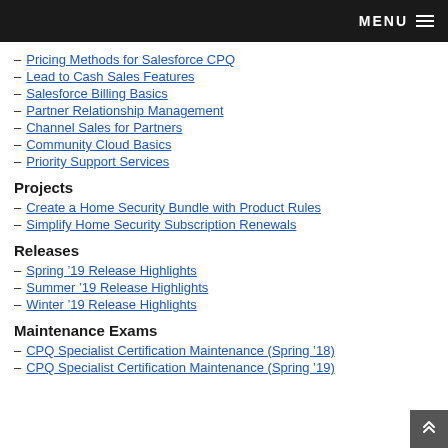MENU
Pricing Methods for Salesforce CPQ
Lead to Cash Sales Features
Salesforce Billing Basics
Partner Relationship Management
Channel Sales for Partners
Community Cloud Basics
Priority Support Services
Projects
Create a Home Security Bundle with Product Rules
Simplify Home Security Subscription Renewals
Releases
Spring ’19 Release Highlights
Summer ’19 Release Highlights
Winter ’19 Release Highlights
Maintenance Exams
CPQ Specialist Certification Maintenance (Spring ’18)
CPQ Specialist Certification Maintenance (Spring ’19)